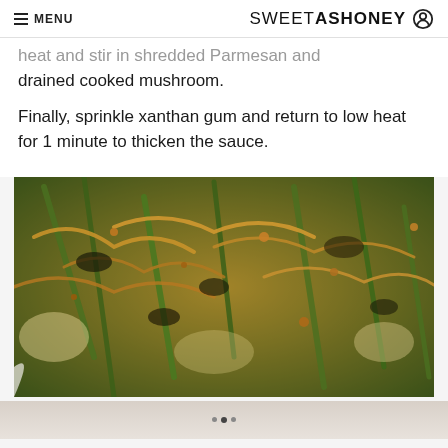≡ MENU | SWEETASHONEY
heat and stir in shredded Parmesan and drained cooked mushroom.
Finally, sprinkle xanthan gum and return to low heat for 1 minute to thicken the sauce.
[Figure (photo): Close-up photo of a green bean casserole in a baking dish topped with crispy caramelized onions and browned cheese]